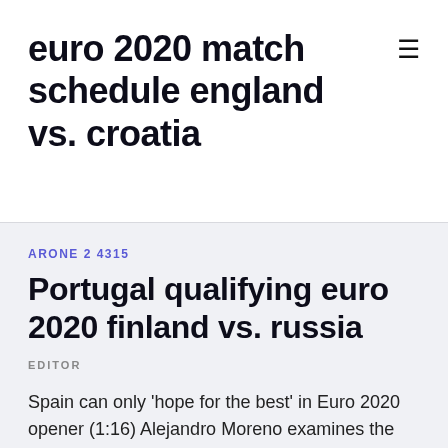euro 2020 match schedule england vs. croatia
ARONE 2 4315
Portugal qualifying euro 2020 finland vs. russia
EDITOR
Spain can only 'hope for the best' in Euro 2020 opener (1:16) Alejandro Moreno examines the difficult situation